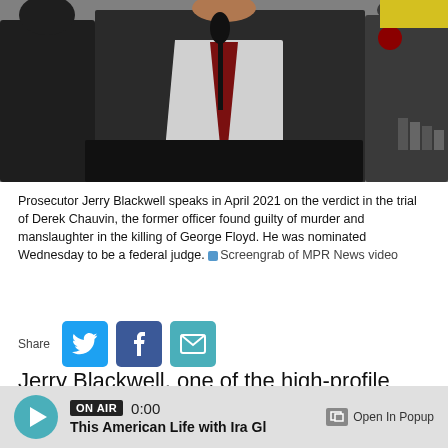[Figure (photo): Prosecutor Jerry Blackwell speaks at a podium with microphone, flanked by two other people, in April 2021 after the Derek Chauvin trial verdict.]
Prosecutor Jerry Blackwell speaks in April 2021 on the verdict in the trial of Derek Chauvin, the former officer found guilty of murder and manslaughter in the killing of George Floyd. He was nominated Wednesday to be a federal judge. Screengrab of MPR News video
Jerry Blackwell, one of the high-profile prosecutors who helped send ex-Minneapolis cop Derek Chauvin to prison for the murder of George Floyd, was nominated Wednesday to be a federal judge.
ON AIR 0:00 This American Life with Ira Gl  Open In Popup